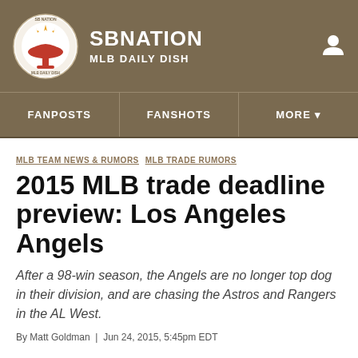SBNATION MLB DAILY DISH
FANPOSTS | FANSHOTS | MORE
MLB TEAM NEWS & RUMORS  MLB TRADE RUMORS
2015 MLB trade deadline preview: Los Angeles Angels
After a 98-win season, the Angels are no longer top dog in their division, and are chasing the Astros and Rangers in the AL West.
By Matt Goldman | Jun 24, 2015, 5:45pm EDT